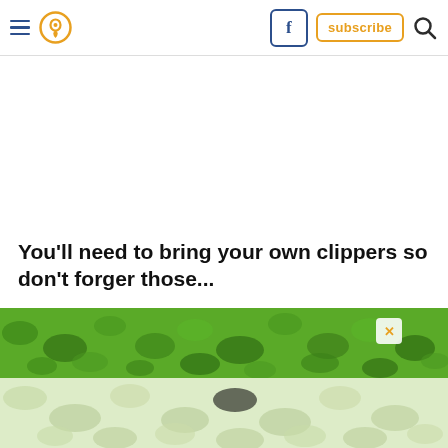Navigation header with hamburger menu, location pin icon, Facebook button, subscribe button, and search icon
You'll need to bring your own clippers so don't forger those...
[Figure (photo): Green grass/shrubs photo, top portion vibrant green, lower portion faded light green, with a small close (X) button overlay]